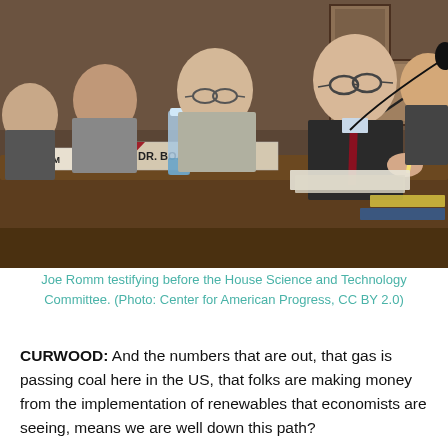[Figure (photo): Joe Romm testifying before the House Science and Technology Committee. Several people are seated at a curved hearing table with nameplates reading 'OMM' and 'DR. BOARDMAN'. A man in a dark suit with a red tie speaks into a microphone. Water bottles and papers are on the table.]
Joe Romm testifying before the House Science and Technology Committee. (Photo: Center for American Progress, CC BY 2.0)
CURWOOD: And the numbers that are out, that gas is passing coal here in the US, that folks are making money from the implementation of renewables that economists are seeing, means we are well down this path?